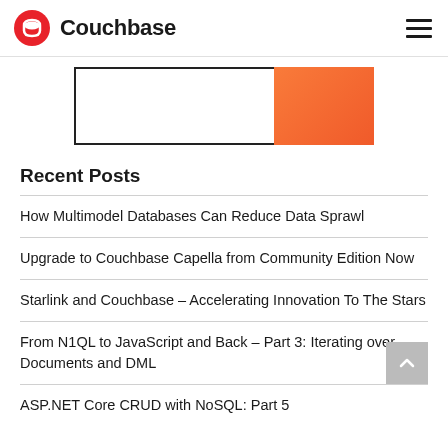Couchbase
[Figure (other): Partial view of a UI element with a white outlined rectangle on the left and an orange/red filled rectangle on the right, shown on a white background.]
Recent Posts
How Multimodel Databases Can Reduce Data Sprawl
Upgrade to Couchbase Capella from Community Edition Now
Starlink and Couchbase – Accelerating Innovation To The Stars
From N1QL to JavaScript and Back – Part 3: Iterating over Documents and DML
ASP.NET Core CRUD with NoSQL: Part 5